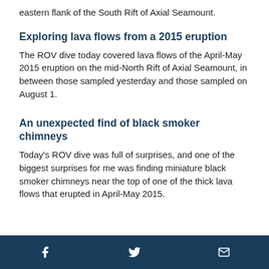eastern flank of the South Rift of Axial Seamount.
Exploring lava flows from a 2015 eruption
The ROV dive today covered lava flows of the April-May 2015 eruption on the mid-North Rift of Axial Seamount, in between those sampled yesterday and those sampled on August 1.
An unexpected find of black smoker chimneys
Today's ROV dive was full of surprises, and one of the biggest surprises for me was finding miniature black smoker chimneys near the top of one of the thick lava flows that erupted in April-May 2015.
Facebook | Twitter | Email